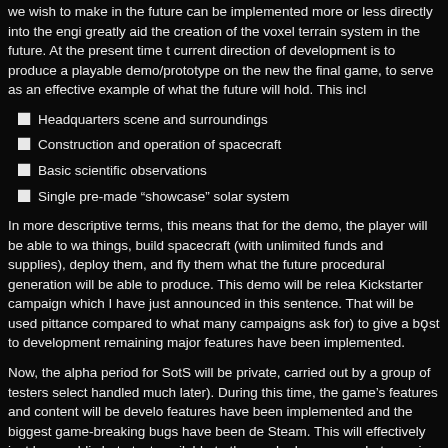we wish to make in the future can be implemented more or less directly into the engi greatly aid the creation of the voxel terrain system in the future. At the present time t current direction of development is to produce a playable demo/prototype on the new the final game, to serve as an effective example of what the future will hold. This incl
Headquarters scene and surroundings
Construction and operation of spacecraft
Basic scientific observations
Single pre-made “showcase” solar system
In more descriptive terms, this means that for the demo, the player will be able to wa things, build spacecraft (with unlimited funds and supplies), deploy them, and fly them what the future procedural generation will be able to produce. This demo will be relea Kickstarter campaign which I have just announced in this sentence. That will be used pittance compared to what many campaigns ask for) to give a boost to development remaining major features have been implemented.
Now, the alpha period for SotS will be private, carried out by a group of testers select handled much later). During this time, the game’s features and content will be develo features have been implemented and the biggest game-breaking bugs have been de Steam. This will effectively just be a public beta test available to those who have pre- what remains, with no major feature additions beyond that point.